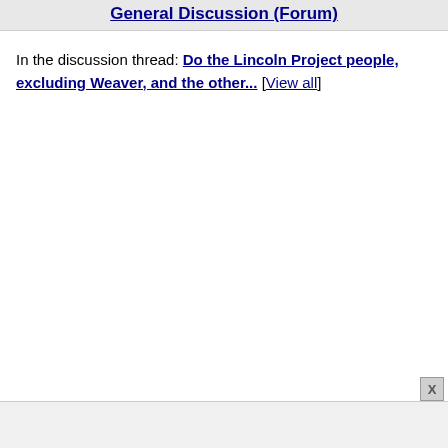General Discussion (Forum)
In the discussion thread: Do the Lincoln Project people, excluding Weaver, and the other... [View all]